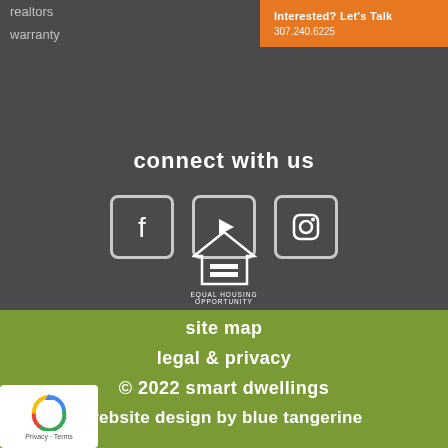realtors
warranty
Interested? Let's Talk
307.240.6225
connect with us
[Figure (logo): Social media icons: Facebook, YouTube, Instagram]
[Figure (logo): Equal Housing Opportunity logo with house icon and text EQUAL HOUSING OPPORTUNITY]
site map
legal & privacy
© 2022 smart dwellings
website design by blue tangerine
[Figure (logo): reCAPTCHA badge with Privacy and Terms links]